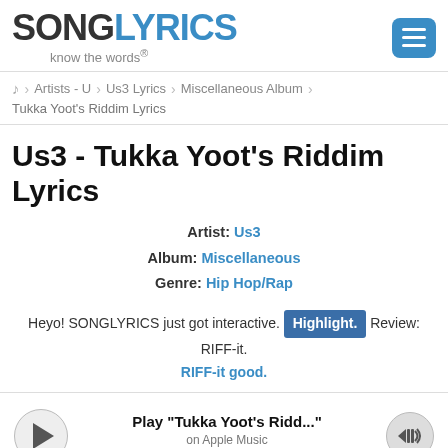SONGLYRICS know the words®
Artists - U › Us3 Lyrics › Miscellaneous Album
Tukka Yoot's Riddim Lyrics
Us3 - Tukka Yoot's Riddim Lyrics
Artist: Us3
Album: Miscellaneous
Genre: Hip Hop/Rap
Heyo! SONGLYRICS just got interactive. Highlight. Review: RIFF-it. RIFF-it good.
[Figure (other): Music player bar with play button, track title 'Play "Tukka Yoot's Ridd..."', 'on Apple Music' subtitle, progress bar, and volume button]
Listen while you read!